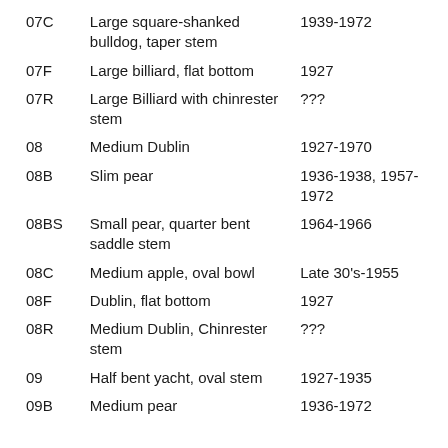| Code | Description | Date |
| --- | --- | --- |
| 07C | Large square-shanked bulldog, taper stem | 1939-1972 |
| 07F | Large billiard, flat bottom | 1927 |
| 07R | Large Billiard with chinrester stem | ??? |
| 08 | Medium Dublin | 1927-1970 |
| 08B | Slim pear | 1936-1938, 1957-1972 |
| 08BS | Small pear, quarter bent saddle stem | 1964-1966 |
| 08C | Medium apple, oval bowl | Late 30's-1955 |
| 08F | Dublin, flat bottom | 1927 |
| 08R | Medium Dublin, Chinrester stem | ??? |
| 09 | Half bent yacht, oval stem | 1927-1935 |
| 09B | Medium pear | 1936-1972 |